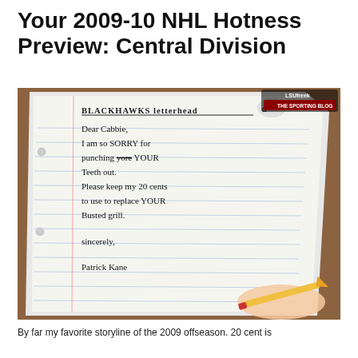Your 2009-10 NHL Hotness Preview: Central Division
[Figure (photo): Photo of a handwritten letter on notebook paper on 'Blackhawks Letterhead'. The letter reads: 'BLACKHAWKS Letterhead / Dear Cabbie, / I am so SORRY for / punching yore YOUR / Teeth out. / Please keep my 20 cents / to use to replace YOUR / Busted grill. / sincerely, / Patrick Kame'. A hand holding a pencil is visible at the bottom right. A 'LSUfreek THE SPORTING BLOG' watermark appears in the top right corner.]
By far my favorite storyline of the 2009 offseason. 20 cent is